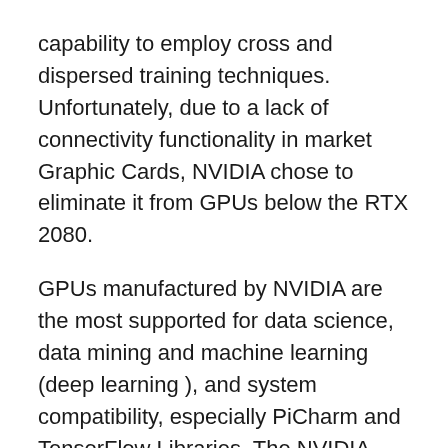capability to employ cross and dispersed training techniques. Unfortunately, due to a lack of connectivity functionality in market Graphic Cards, NVIDIA chose to eliminate it from GPUs below the RTX 2080.
GPUs manufactured by NVIDIA are the most supported for data science, data mining and machine learning (deep learning ), and system compatibility, especially PiCharm and TensorFlow Libraries. The NVIDIA CUDA toolbox has APIs for GPU acceleration, a C / C++ compiler and execution, and features for optimization and diagnostics. It enables you to begin working. Users must be able first to develop a customized connection.
Licensing